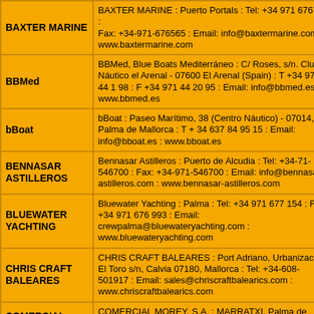| Company | Contact Details |
| --- | --- |
| BAXTER MARINE | BAXTER MARINE : Puerto Portals : Tel: +34 971 676765 : Fax: +34-971-676565 : Email: info@baxtermarine.com : www.baxtermarine.com |
| BBMed | BBMed, Blue Boats Mediterráneo : C/ Roses, s/n. Club Náutico el Arenal - 07600 El Arenal (Spain) : T +34 971 44 1 98 : F +34 971 44 20 95 : Email: info@bbmed.es : www.bbmed.es |
| bBoat | bBoat : Paseo Marítimo, 38 (Centro Náutico) - 07014, Palma de Mallorca : T + 34 637 84 95 15 : Email: info@bboat.es : www.bboat.es |
| BENNASAR ASTILLEROS | Bennasar Astilleros : Puerto de Alcudia : Tel: +34-71-546700 : Fax: +34-971-546700 : Email: info@bennasar-astilleros.com : www.bennasar-astilleros.com |
| BLUEWATER YACHTING | Bluewater Yachting : Palma : Tel: +34 971 677 154 : Fax: +34 971 676 993 : Email: crewpalma@bluewateryachting.com : www.bluewateryachting.com |
| CHRIS CRAFT BALEARES | CHRIS CRAFT BALEARES : Port Adriano, Urbanizacion El Toro s/n, Calvia 07180, Mallorca : Tel: +34-608-501917 : Email: sales@chriscraftbalearics.com : www.chriscraftbalearics.com |
| COMERCIAL MOREY, S.A | COMERCIAL MOREY, S.A. : MARRATXI, Palma de Mallorca : Tel: +34-971 604 273 / +34-971 605 077 / +34-971 605 112 : Email: morey@comercialmorey.com : |